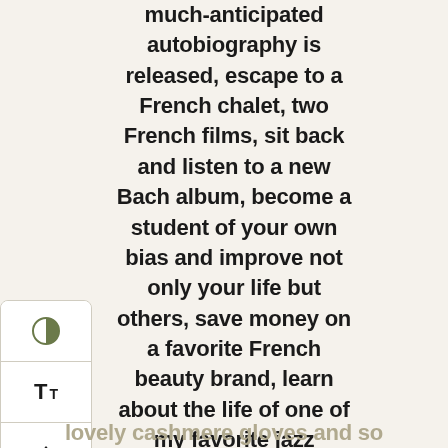much-anticipated autobiography is released, escape to a French chalet, two French films, sit back and listen to a new Bach album, become a student of your own bias and improve not only your life but others, save money on a favorite French beauty brand, learn about the life of one of my favorite jazz musicians, invest in a gorgeous fall/winter capsule trench coat, add a pair of lovely cashmere gloves and so much more...
[Figure (other): Reader settings sidebar with three icons: contrast/brightness toggle (half-filled circle), font size selector (Tt), and scroll-to-top button (arrow pointing up with line)]